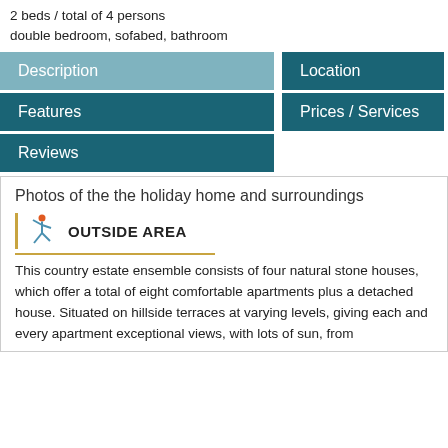2 beds / total of 4 persons
double bedroom, sofabed, bathroom
Description
Location
Features
Prices / Services
Reviews
Photos of the the holiday home and surroundings
OUTSIDE AREA
This country estate ensemble consists of four natural stone houses, which offer a total of eight comfortable apartments plus a detached house. Situated on hillside terraces at varying levels, giving each and every apartment exceptional views, with lots of sun, from